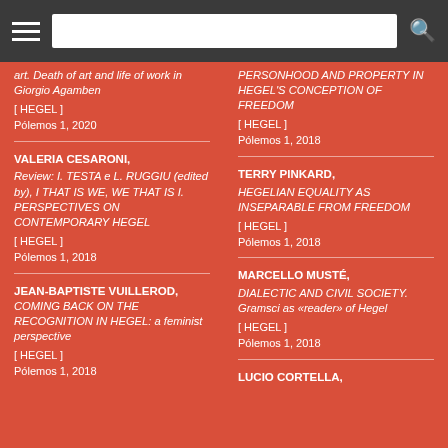art. Death of art and life of work in Giorgio Agamben [ HEGEL ] Pólemos 1, 2020
PERSONHOOD AND PROPERTY IN HEGEL'S CONCEPTION OF FREEDOM [ HEGEL ] Pólemos 1, 2018
VALERIA CESARONI, Review: I. TESTA e L. RUGGIU (edited by), I THAT IS WE, WE THAT IS I. PERSPECTIVES ON CONTEMPORARY HEGEL [ HEGEL ] Pólemos 1, 2018
TERRY PINKARD, HEGELIAN EQUALITY AS INSEPARABLE FROM FREEDOM [ HEGEL ] Pólemos 1, 2018
JEAN-BAPTISTE VUILLEROD, COMING BACK ON THE RECOGNITION IN HEGEL: a feminist perspective [ HEGEL ] Pólemos 1, 2018
MARCELLO MUSTÉ, DIALECTIC AND CIVIL SOCIETY. Gramsci as «reader» of Hegel [ HEGEL ] Pólemos 1, 2018
LUCIO CORTELLA,